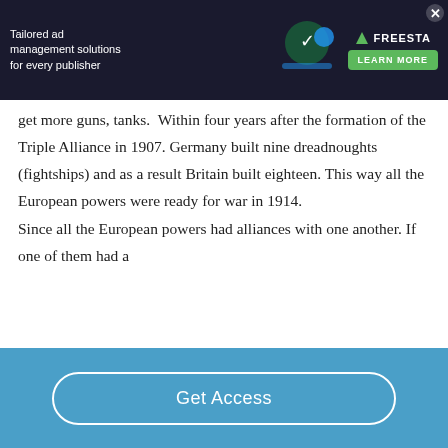[Figure (screenshot): Advertisement banner for Freestar ad management solutions for publishers, with green 'Learn More' button and dark background]
get more guns, tanks.  Within four years after the formation of the Triple Alliance in 1907. Germany built nine dreadnoughts (fightships) and as a result Britain built eighteen. This way all the European powers were ready for war in 1914.
Since all the European powers had alliances with one another. If one of them had a
Get Access